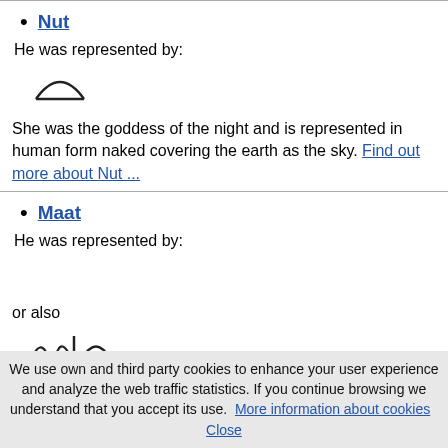Nut
He was represented by:
[Figure (illustration): Egyptian hieroglyph semicircle/hill symbol representing Nut]
She was the goddess of the night and is represented in human form naked covering the earth as the sky. Find out more about Nut ...
Maat
He was represented by:
or also
[Figure (illustration): Egyptian hieroglyphs representing Maat]
We use own and third party cookies to enhance your user experience and analyze the web traffic statistics. If you continue browsing we understand that you accept its use. More information about cookies  Close